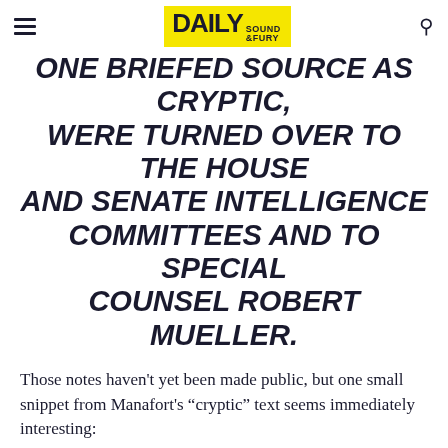DAILY SOUND & FURY
ONE BRIEFED SOURCE AS CRYPTIC, WERE TURNED OVER TO THE HOUSE AND SENATE INTELLIGENCE COMMITTEES AND TO SPECIAL COUNSEL ROBERT MUELLER.
Those notes haven't yet been made public, but one small snippet from Manafort's “cryptic” text seems immediately interesting:
THEY CONTAINED THE WORDS “DONATIONS,” AND “RNC” IN CLOSE PROXIMITY, THE SOURCES SAID.